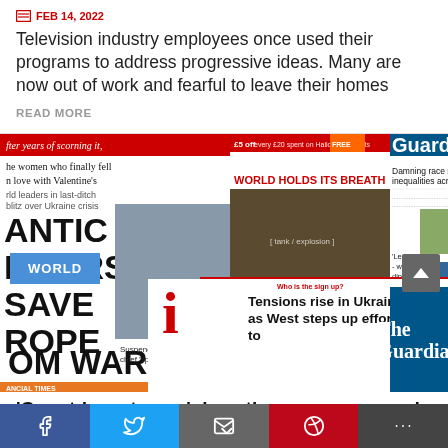FEB 14, 2022
Television industry employees once used their programs to address progressive ideas. Many are now out of work and fearful to leave their homes
READ MORE
[Figure (photo): Collage of newspaper front pages including Financial Times, Daily Mail, The Times, Daily Express, The Guardian, and i newspaper, all covering Ukraine/Russia tensions with headlines including 'COUNTDOWN TO WAR', 'WORLD HOLDS ITS BREATH', 'Tensions rise in Ukraine as West steps up efforts to', 'Damning race report reveals inequalities across health', 'Leave now - western diplomats flee Kyiv', 'Under pressure', 'Leaders in final push to avert Ukraine'. A WORLD badge in blue is overlaid bottom left.]
'Countdown to war': how the papers covered